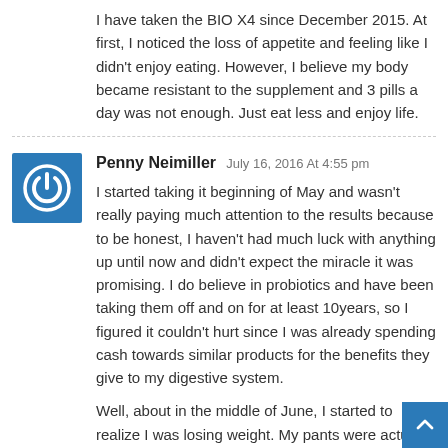I have taken the BIO X4 since December 2015. At first, I noticed the loss of appetite and feeling like I didn't enjoy eating. However, I believe my body became resistant to the supplement and 3 pills a day was not enough. Just eat less and enjoy life.
Penny Neimiller July 16, 2016 At 4:55 pm
I started taking it beginning of May and wasn't really paying much attention to the results because to be honest, I haven't had much luck with anything up until now and didn't expect the miracle it was promising. I do believe in probiotics and have been taking them off and on for at least 10years, so I figured it couldn't hurt since I was already spending cash towards similar products for the benefits they give to my digestive system.
Well, about in the middle of June, I started to realize I was losing weight. My pants were actually falling down and I had to get a smaller size out, which I haven't been in for a long time. I have been under a lot of stress